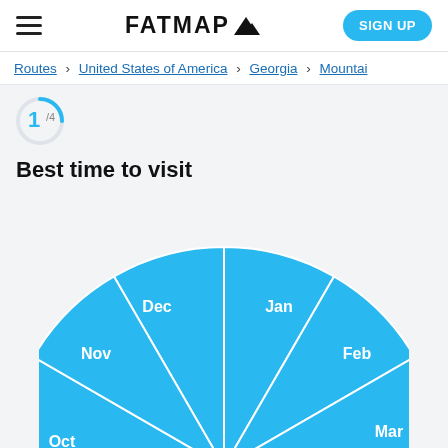FATMAP  (logo with mountain icon)
Routes > United States of America > Georgia > Mountain
1 /4
Best time to visit
[Figure (pie-chart): Best time to visit]